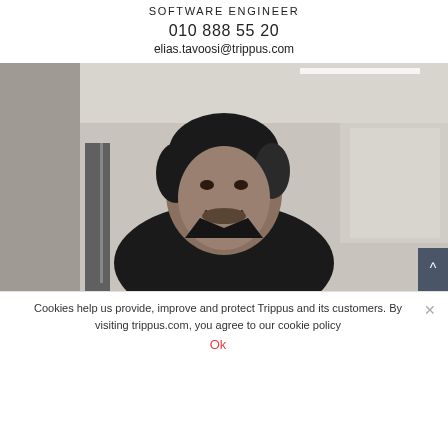SOFTWARE ENGINEER
010 888 55 20
elias.tavoosi@trippus.com
[Figure (photo): Black and white photo of a smiling young man with curly dark hair, wearing a black shirt, standing in an office environment with windows and ceiling lights visible in the background.]
Cookies help us provide, improve and protect Trippus and its customers. By visiting trippus.com, you agree to our cookie policy Ok